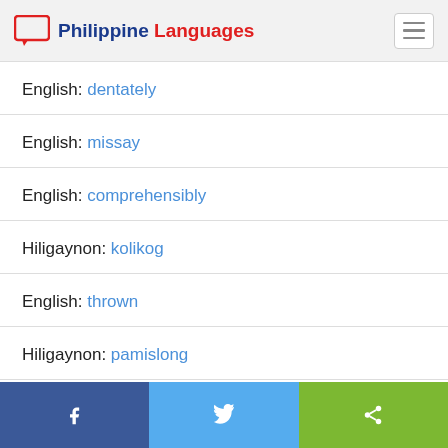Philippine Languages
English: dentately
English: missay
English: comprehensibly
Hiligaynon: kolikog
English: thrown
Hiligaynon: pamislong
Facebook | Twitter | Share